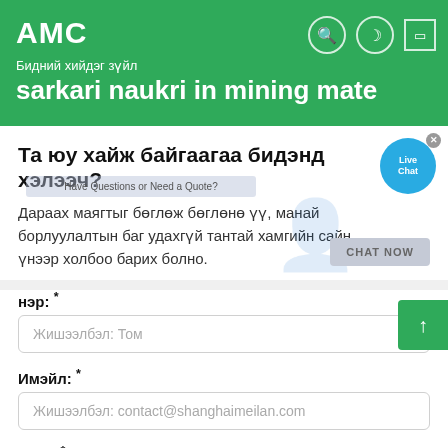АМС
Бидний хийдэг зүйл
sarkari naukri in mining mate
Та юу хайж байгаагаа бидэнд хэлээч?
Дараах маягтыг бөглөж бөглөнө үү, манай борлуулалтын баг удахгүй тантай хамгийн сайн үнээр холбоо барих болно.
нэр: *
Жишээлбэл: Том
Имэйл: *
Жишээлбэл: contact@shanghaimeilan.com
Утас: *